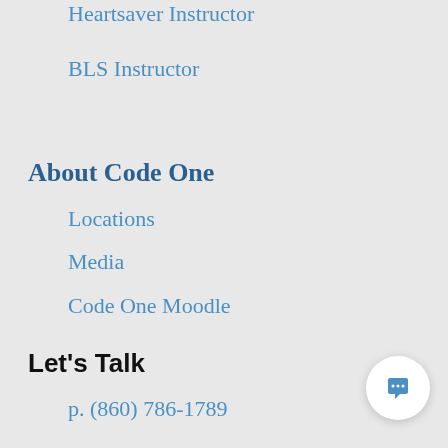Heartsaver Instructor
BLS Instructor
About Code One
Locations
Careers
Shop AED Team
Learning Center
Media
Code One Moodle
Let's Talk
p. (860) 786-1789